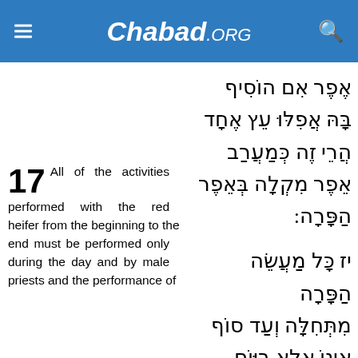Chabad.ORG
אֶפֶר אִם הוֹסִיף בָּהּ אֲפִלּוּ עֵץ אֶחָד הֲרֵי זֶה כְּמַעֲרַב אֵפֶר מִקְלָה בְּאֵפֶר הַפָּרָה:
17 All of the activities performed with the red heifer from the beginning to the end must be performed only during the day and by male priests and the performance of
יז כָּל מַעֲשֵׂה הַפָּרָה מִתְּחִלָּה וְעַד סוֹף אֵינוֹ אֶלָּא בַּיּוֹם.